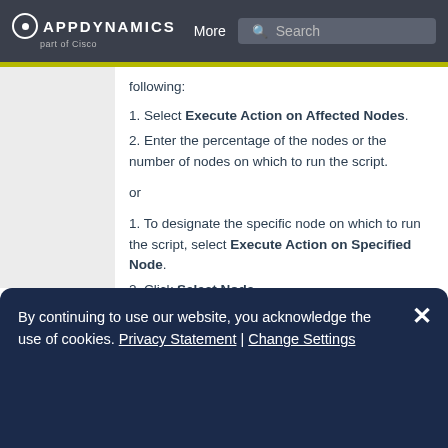AppDynamics part of Cisco — More | Search
following:
1. Select Execute Action on Affected Nodes.
2. Enter the percentage of the nodes or the number of nodes on which to run the script.
or
1. To designate the specific node on which to run the script, select Execute Action on Specified Node.
2. Click Select Node.
3. From the popup node browser select the node on which the script should run.
4. Click Select.
The selected node is displayed in the
Configure Action window.
By continuing to use our website, you acknowledge the use of cookies. Privacy Statement | Change Settings